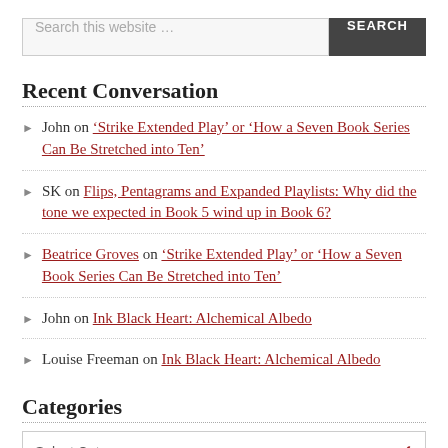[Figure (screenshot): Search bar with text 'Search this website …' and a dark SEARCH button]
Recent Conversation
John on 'Strike Extended Play' or 'How a Seven Book Series Can Be Stretched into Ten'
SK on Flips, Pentagrams and Expanded Playlists: Why did the tone we expected in Book 5 wind up in Book 6?
Beatrice Groves on 'Strike Extended Play' or 'How a Seven Book Series Can Be Stretched into Ten'
John on Ink Black Heart: Alchemical Albedo
Louise Freeman on Ink Black Heart: Alchemical Albedo
Categories
Select Category